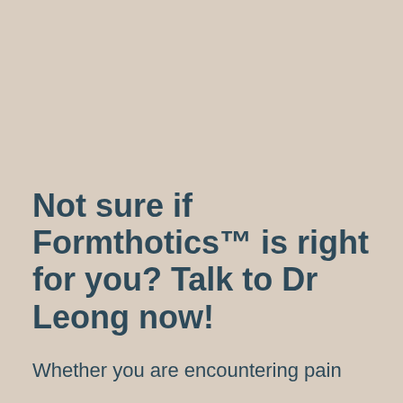Not sure if Formthotics™ is right for you? Talk to Dr Leong now!
Whether you are encountering pain